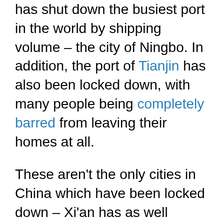has shut down the busiest port in the world by shipping volume – the city of Ningbo. In addition, the port of Tianjin has also been locked down, with many people being completely barred from leaving their homes at all.
These aren't the only cities in China which have been locked down – Xi'an has as well (where there's recently been an outbreak of hemorrhagic fever) – but they are both major ports.
Currently, sailing schedules within China are delayed by a week, and cargo ships are being forced to divert to Shanghai with